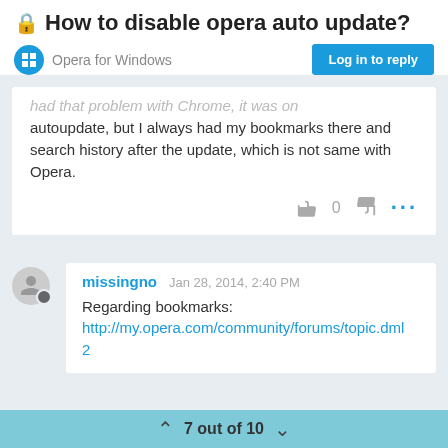How to disable opera auto update?
Opera for Windows
Log in to reply
had that problem with Chrome, it was on autoupdate, but I always had my bookmarks there and search history after the update, which is not same with Opera.
0
missingno   Jan 28, 2014, 2:40 PM
Regarding bookmarks:
http://my.opera.com/community/forums/topic.dml 2
7 out of 10